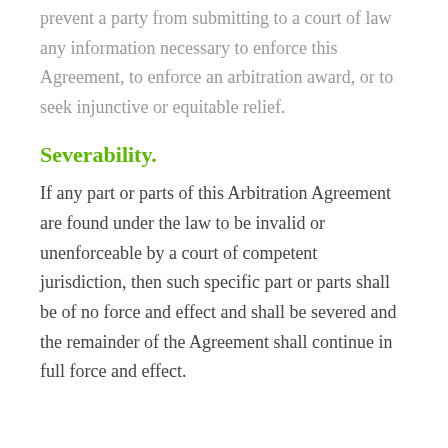prevent a party from submitting to a court of law any information necessary to enforce this Agreement, to enforce an arbitration award, or to seek injunctive or equitable relief.
Severability.
If any part or parts of this Arbitration Agreement are found under the law to be invalid or unenforceable by a court of competent jurisdiction, then such specific part or parts shall be of no force and effect and shall be severed and the remainder of the Agreement shall continue in full force and effect.